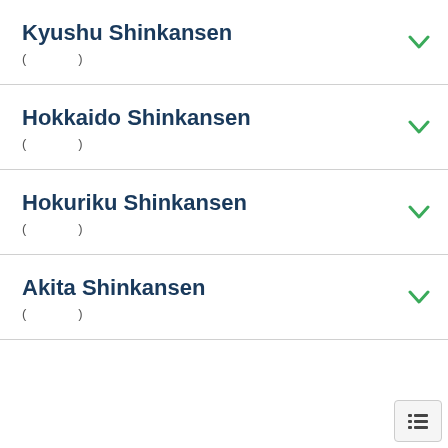Kyushu Shinkansen
( )
Hokkaido Shinkansen
( )
Hokuriku Shinkansen
( )
Akita Shinkansen
( )